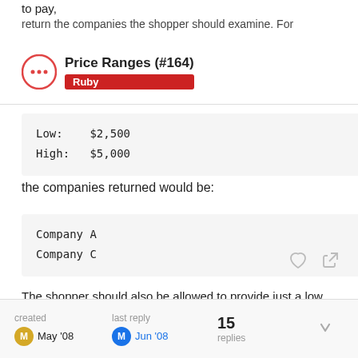to pay,
return the companies the shopper should examine. For
Price Ranges (#164)
Ruby
Low:    $2,500
High:   $5,000
the companies returned would be:
Company A
Company C
The shopper should also be allowed to provide just a low or just a high
value instead of both, should they prefer to do so.
created May '08   last reply Jun '08   15 replies